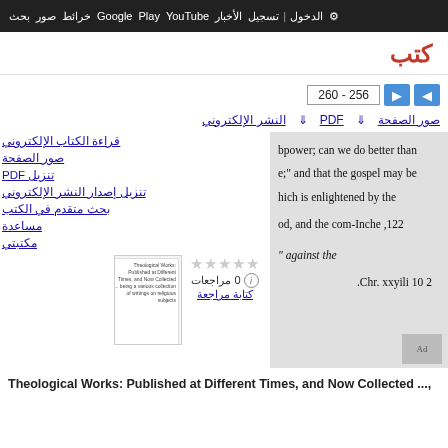بحث صور خرائط Google Play YouTube الأخبار تسجيل الدخول الإعدادات
كتب
256 - 260
صور الصفحة  PDF  النشر الإلكتروني
bpower; can we do better than
e;" and that the gospel may be
hiich is enlightened by the

od, and the com-Inche ,122

" against the

2 10 xxyili Chr.
قراءة الكتاب الإلكتروني
صور الصفحة
تنزيل PDF
تنزيل إصدار النشر الإلكتروني
بحث متقدم في الكتب
مساعدة
مكتبتي
0 مراجعات
كتابة مراجعة
Theological Works: Published at Different Times, and Now Collected ...,